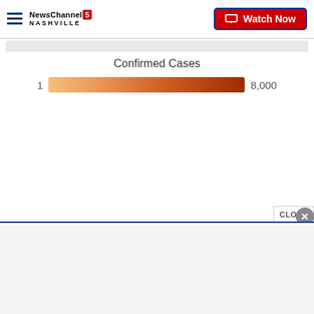NewsChannel 5 Nashville — Watch Now
[Figure (infographic): Color legend bar for confirmed COVID-19 cases map, showing gradient from light orange (1) to dark red-brown (8,000). Title: 'Confirmed Cases'. Labels: 1 on left, 8,000 on right.]
CLOSE